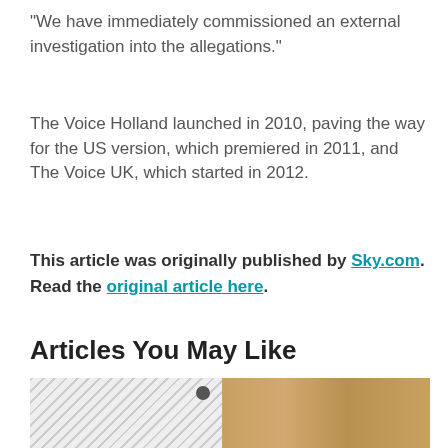“We have immediately commissioned an external investigation into the allegations.”
The Voice Holland launched in 2010, paving the way for the US version, which premiered in 2011, and The Voice UK, which started in 2012.
This article was originally published by Sky.com. Read the original article here.
Articles You May Like
[Figure (photo): A person wearing a brown beanie hat and glasses, photographed outdoors with a striped fabric on the left and a wooden board background on the right.]